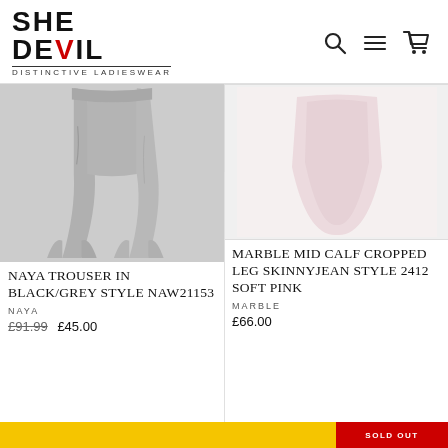[Figure (logo): She Devil Distinctive Ladieswear logo with search, menu and cart icons]
[Figure (photo): Naya trouser in black/grey, flared leg style, shown as pair on white background]
NAYA TROUSER IN BLACK/GREY STYLE NAW21153
NAYA
£91.99  £45.00
[Figure (photo): Marble Mid Calf Cropped Leg Skinnyjean in Soft Pink, light pink garment on white background]
MARBLE MID CALF CROPPED LEG SKINNYJEAN STYLE 2412 SOFT PINK
MARBLE
£66.00